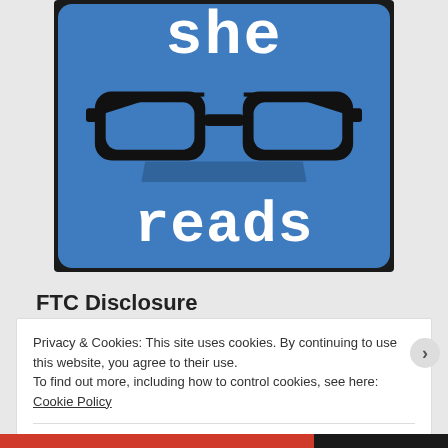[Figure (logo): She Reads blog logo — blue rounded square background with word 'she' in white typewriter font at top, black glasses silhouette in middle, word 'reads' in white typewriter font at bottom]
FTC Disclosure
Privacy & Cookies: This site uses cookies. By continuing to use this website, you agree to their use.
To find out more, including how to control cookies, see here: Cookie Policy
Close and accept